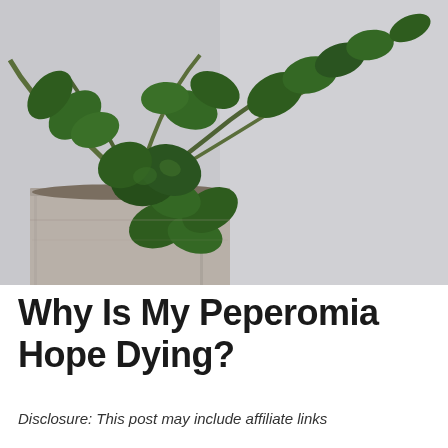[Figure (photo): Close-up photo of a Peperomia Hope plant with round, dark green leaves in a light gray/beige concrete pot, against a neutral gray background.]
Why Is My Peperomia Hope Dying?
Disclosure: This post may include affiliate links